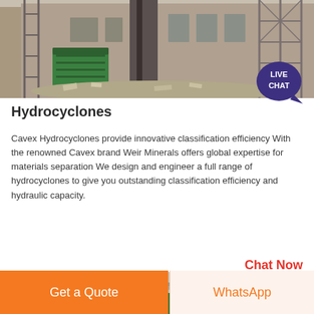[Figure (photo): Industrial facility with scaffolding, green container, and construction equipment under grey sky]
[Figure (infographic): Live Chat bubble badge in dark purple/blue with white text LIVE CHAT]
Hydrocyclones
Cavex Hydrocyclones provide innovative classification efficiency With the renowned Cavex brand Weir Minerals offers global expertise for materials separation We design and engineer a full range of hydrocyclones to give you outstanding classification efficiency and hydraulic capacity.
Chat Now
[Figure (photo): Interior of industrial warehouse/factory with green machinery visible under metal roof structure]
Get a Quote
WhatsApp